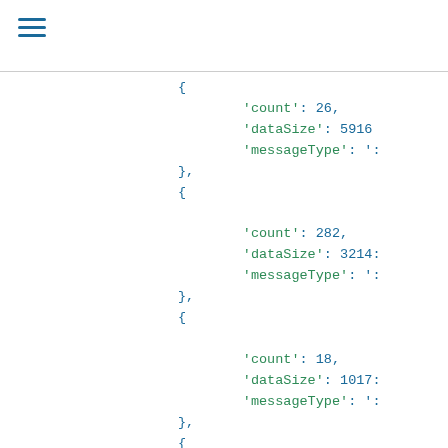{
    'count': 26,
    'dataSize': 5916
    'messageType': '...
},
{
    'count': 282,
    'dataSize': 3214...
    'messageType': '...
},
{
    'count': 18,
    'dataSize': 1017...
    'messageType': '...
},
{
    'count': 3,
    'dataSize': 8001...
    'messageType': '...
},
{
    'count': 1,
    'dataSize': 360...